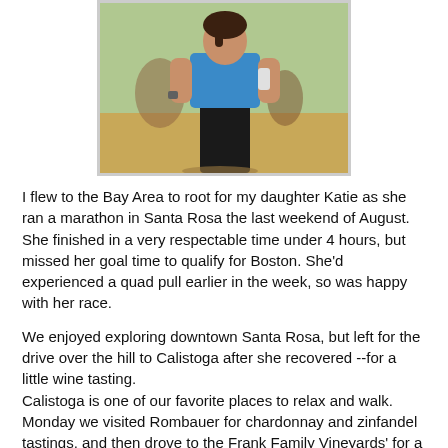[Figure (photo): A photo of a marathon runner (Katie) wearing a blue top and black shorts, holding a water bottle, at the finish area of a race. Green grass and trees visible in background.]
I flew to the Bay Area to root for my daughter Katie as she ran a marathon in Santa Rosa the last weekend of August. She finished in a very respectable time under 4 hours, but missed her goal time to qualify for Boston. She'd experienced a quad pull earlier in the week, so was happy with her race.
We enjoyed exploring downtown Santa Rosa, but left for the drive over the hill to Calistoga after she recovered --for a little wine tasting.
Calistoga is one of our favorite places to relax and walk. Monday we visited Rombauer for chardonnay and zinfandel tastings, and then drove to the Frank Family Vineyards' for a